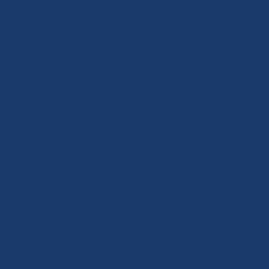le r it.
[Figure (photo): Yellow warning sign reading 'BEWARE OF HIPPOS' with silhouette of a hippopotamus, and text 'CAPHELA IZINVUB' at the bottom]
Perry de Havilland (London) Jun